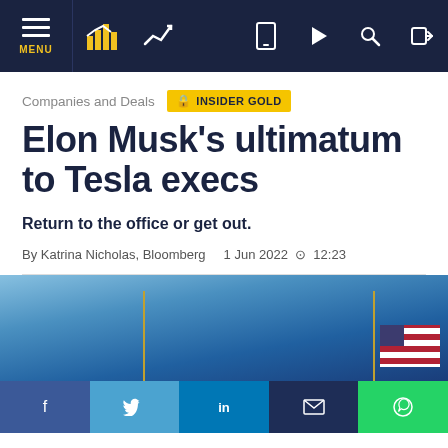MENU | [nav icons]
Companies and Deals
INSIDER GOLD
Elon Musk’s ultimatum to Tesla execs
Return to the office or get out.
By Katrina Nicholas, Bloomberg    1 Jun 2022  12:23
[Figure (photo): Outdoor photo with blue sky and flags visible, partially cropped]
f  |  Twitter bird  |  in  |  envelope  |  WhatsApp